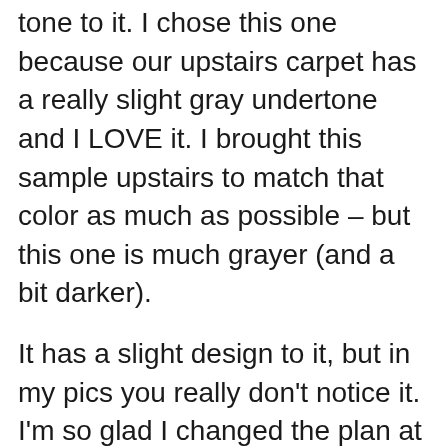We went with a lighter carpet with a gray tone to it. I chose this one because our upstairs carpet has a really slight gray undertone and I LOVE it. I brought this sample upstairs to match that color as much as possible – but this one is much grayer (and a bit darker).
It has a slight design to it, but in my pics you really don't notice it. I'm so glad I changed the plan at the last minute cause this is soooo much softer than the first one we had picked out! We upped the thickness of the padding too so it's